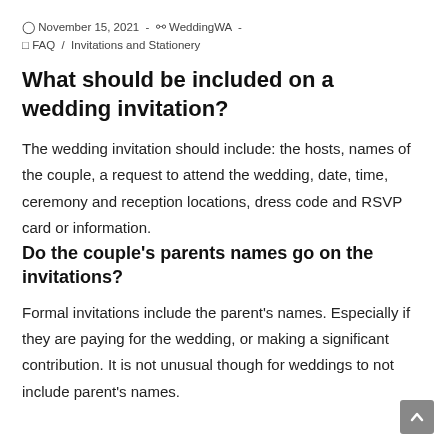November 15, 2021 - WeddingWA - FAQ / Invitations and Stationery
What should be included on a wedding invitation?
The wedding invitation should include: the hosts, names of the couple, a request to attend the wedding, date, time, ceremony and reception locations, dress code and RSVP card or information.
Do the couple's parents names go on the invitations?
Formal invitations include the parent's names. Especially if they are paying for the wedding, or making a significant contribution. It is not unusual though for weddings to not include parent's names.